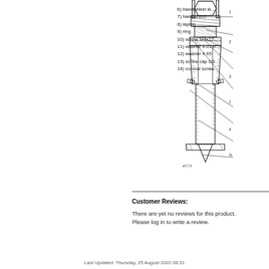[Figure (engineering-diagram): Cross-sectional engineering diagram of a valve/handwheel assembly showing numbered parts (items 1-14) with leader lines pointing to components including handwheel, laying, ring, screws, washers, and conical screw parts. Partial view cropped at left and top edges.]
6) handwheel le...
7) handwheel
8) laying
9) ring
10) screw M4x12...
11) washer 4.01.0...
12) washer 4 65
13) screw cap G3...
14) conical screw...
Customer Reviews:
There are yet no reviews for this product. Please log in to write a review.
Last Updated: Thursday, 25 August 2022 08:31